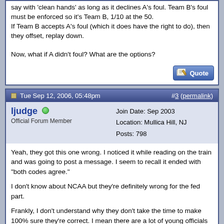say with 'clean hands' as long as it declines A's foul. Team B's foul must be enforced so it's Team B, 1/10 at the 50.
If Team B accepts A's foul (which it does have the right to do), then they offset, replay down.

Now, what if A didn't foul? What are the options?
[Figure (other): Quote button with pencil/notepad icon]
Tue Sep 12, 2006, 05:48pm   #3 (permalink)
ljudge
Official Forum Member
Join Date: Sep 2003
Location: Mullica Hill, NJ
Posts: 798
Yeah, they got this one wrong. I noticed it while reading on the train and was going to post a message. I seem to recall it ended with "both codes agree."

I don't know about NCAA but they're definitely wrong for the fed part.

Frankly, I don't understand why they don't take the time to make 100% sure they're correct. I mean there are a lot of young officials who read this magazine who are trying to make it through trainee / cadet programs to become varsity officials and use it as a valuable resource.

I tell our new guys to sign up and participate on this forum. I tell them if they ask questions on this forum that guys would "come from all 4 corners" of the country to respond to questions and